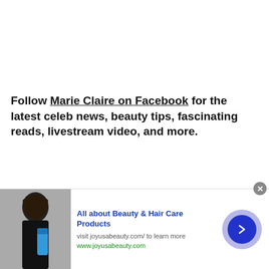Follow Marie Claire on Facebook for the latest celeb news, beauty tips, fascinating reads, livestream video, and more.
[Figure (photo): Partial view of a person with blond braided hair, cropped at bottom of page]
[Figure (photo): Advertisement banner: photo of a woman with dark hair holding a blue bottle; ad for joyusabeauty.com]
All about Beauty & Hair Care Products
visit joyusabeauty.com/ to learn more
www.joyusabeauty.com